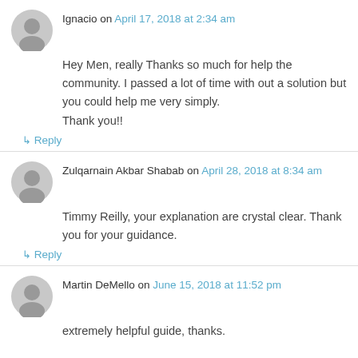Ignacio on April 17, 2018 at 2:34 am
Hey Men, really Thanks so much for help the community. I passed a lot of time with out a solution but you could help me very simply.
Thank you!!
↳ Reply
Zulqarnain Akbar Shabab on April 28, 2018 at 8:34 am
Timmy Reilly, your explanation are crystal clear. Thank you for your guidance.
↳ Reply
Martin DeMello on June 15, 2018 at 11:52 pm
extremely helpful guide, thanks.

one addendum: activating virtualenvs within powershell seems to be problematic, the simplest fix is to run cmd first and then mkvirtualenv etc.